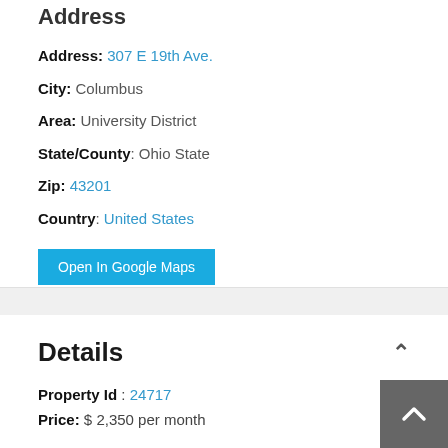Address
Address: 307 E 19th Ave.
City: Columbus
Area: University District
State/County: Ohio State
Zip: 43201
Country: United States
Open In Google Maps
Details
Property Id : 24717
Price: $ 2,350 per month